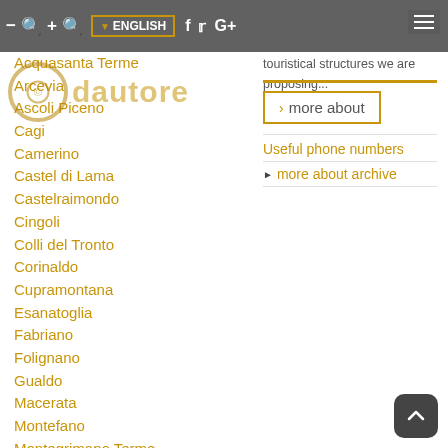touristical structures we are proposing... ENGLISH
Acquasanta Terme
Arcevia
Ascoli Piceno
Cagi
Camerino
Castel di Lama
Castelraimondo
Cingoli
Colli del Tronto
Corinaldo
Cupramontana
Esanatoglia
Fabriano
Folignano
Gualdo
Macerata
Montefano
Montegrimano Terme
Montelupone
Morrovalle
Poggio San Marcello
Ripatransone
San Ginesio
San Paolo di Jesi
San Severino Marche
more about
Useful phone numbers
more about archive